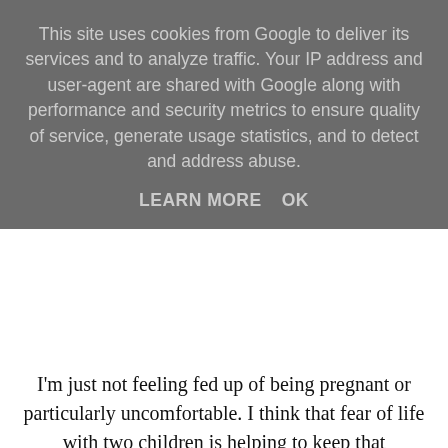This site uses cookies from Google to deliver its services and to analyze traffic. Your IP address and user-agent are shared with Google along with performance and security metrics to ensure quality of service, generate usage statistics, and to detect and address abuse.
LEARN MORE   OK
I'm just not feeling fed up of being pregnant or particularly uncomfortable. I think that fear of life with two children is helping to keep that desperation to meet this little baby at bay; it's going to happen when she's ready.
Having said all this there are some aspects of being overdue that I'm certainly struggling with and as I get further into this overdue world it's not getting easier. The main thing is the 'is this it?' questioning, which feels like an hourly occurrence on some days! I've lost count the amount of times I've told my husband to be on high alert